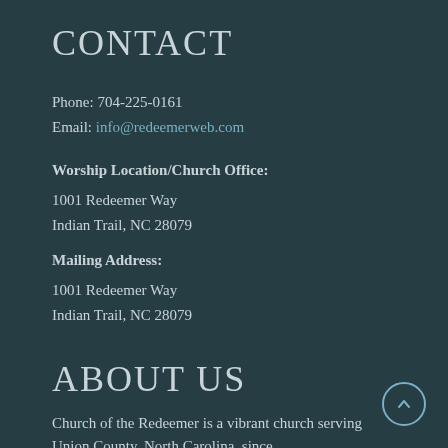CONTACT
Phone: 704-225-0161
Email: info@redeemerweb.com
Worship Location/Church Office:
1001 Redeemer Way
Indian Trail, NC 28079
Mailing Address:
1001 Redeemer Way
Indian Trail, NC 28079
ABOUT US
Church of the Redeemer is a vibrant church serving Union County, North Carolina, since